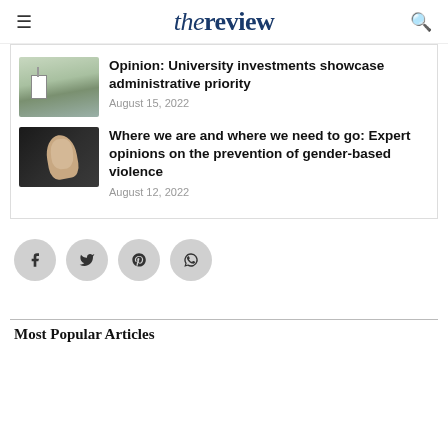the review
Opinion: University investments showcase administrative priority
August 15, 2022
Where we are and where we need to go: Expert opinions on the prevention of gender-based violence
August 12, 2022
[Figure (other): Social share buttons: Facebook, Twitter, Pinterest, WhatsApp]
Most Popular Articles